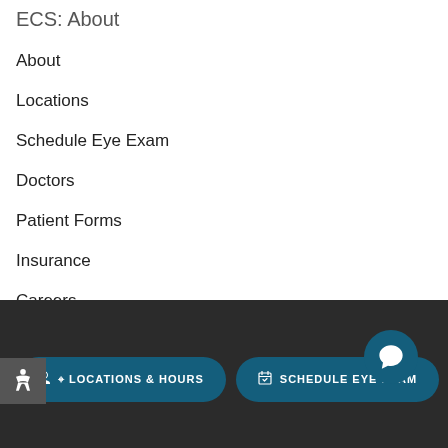ECS: About
About
Locations
Schedule Eye Exam
Doctors
Patient Forms
Insurance
Careers
LOCATIONS & HOURS   SCHEDULE EYE EXAM